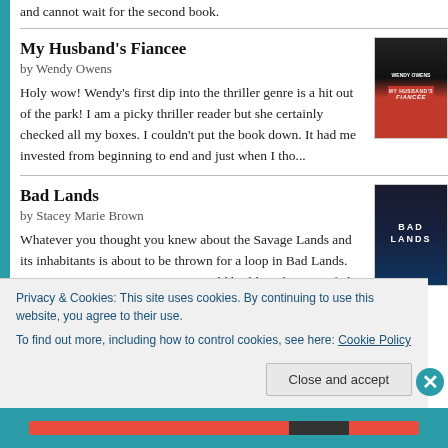and cannot wait for the second book.
My Husband's Fiancee
by Wendy Owens
[Figure (photo): Book cover of My Husband's Fiancee by Wendy Owens]
Holy wow! Wendy's first dip into the thriller genre is a hit out of the park! I am a picky thriller reader but she certainly checked all my boxes. I couldn't put the book down. It had me invested from beginning to end and just when I tho...
Bad Lands
by Stacey Marie Brown
[Figure (photo): Book cover of Bad Lands by Stacey Marie Brown]
Whatever you thought you knew about the Savage Lands and its inhabitants is about to be thrown for a loop in Bad Lands. Stacey Marie Brown is a master world builder who never fails to keep me guessing and craving more of her words. The f...
Privacy & Cookies: This site uses cookies. By continuing to use this website, you agree to their use.
To find out more, including how to control cookies, see here: Cookie Policy